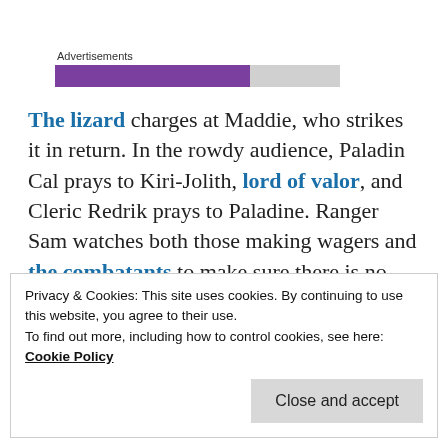[Figure (other): Advertisements loading bar with purple filled portion and gray unfilled portion]
The lizard charges at Maddie, who strikes it in return. In the rowdy audience, Paladin Cal prays to Kiri-Jolith, lord of valor, and Cleric Redrik prays to Paladine. Ranger Sam watches both those making wagers and the combatants to make sure there is no cheating.
Privacy & Cookies: This site uses cookies. By continuing to use this website, you agree to their use.
To find out more, including how to control cookies, see here: Cookie Policy
Close and accept